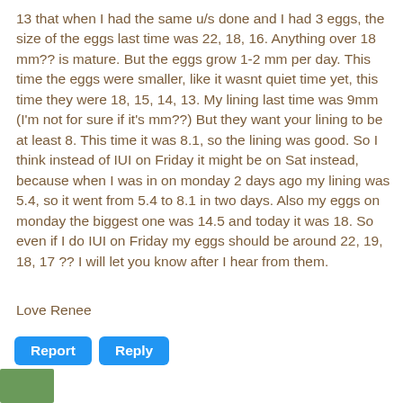13 that when I had the same u/s done and I had 3 eggs, the size of the eggs last time was 22, 18, 16. Anything over 18 mm?? is mature. But the eggs grow 1-2 mm per day. This time the eggs were smaller, like it wasnt quiet time yet, this time they were 18, 15, 14, 13. My lining last time was 9mm (I'm not for sure if it's mm??) But they want your lining to be at least 8. This time it was 8.1, so the lining was good. So I think instead of IUI on Friday it might be on Sat instead, because when I was in on monday 2 days ago my lining was 5.4, so it went from 5.4 to 8.1 in two days. Also my eggs on monday the biggest one was 14.5 and today it was 18. So even if I do IUI on Friday my eggs should be around 22, 19, 18, 17 ?? I will let you know after I hear from them.
Love Renee
[Figure (other): Report and Reply buttons (blue, rounded)]